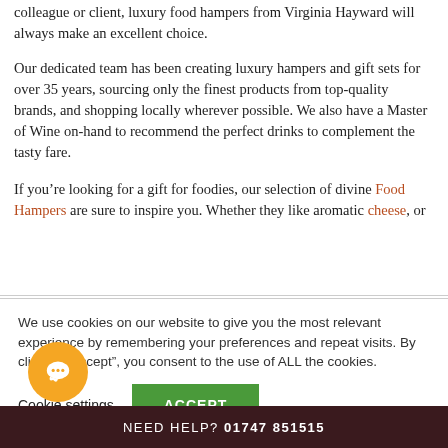colleague or client, luxury food hampers from Virginia Hayward will always make an excellent choice.
Our dedicated team has been creating luxury hampers and gift sets for over 35 years, sourcing only the finest products from top-quality brands, and shopping locally wherever possible. We also have a Master of Wine on-hand to recommend the perfect drinks to complement the tasty fare.
If you’re looking for a gift for foodies, our selection of divine Food Hampers are sure to inspire you. Whether they like aromatic cheese, or
We use cookies on our website to give you the most relevant experience by remembering your preferences and repeat visits. By clicking “Accept”, you consent to the use of ALL the cookies.
Cookie settings | ACCEPT
NEED HELP? 01747 851515